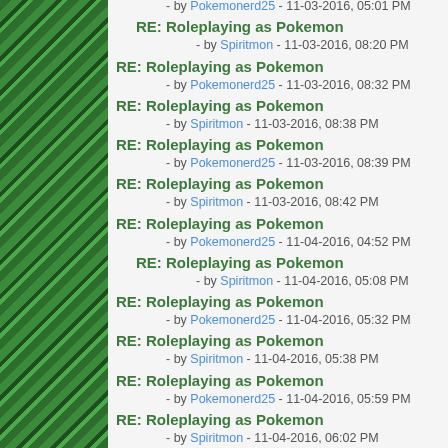[Figure (illustration): Green pixelated Minecraft-style sidebar on the left]
RE: Roleplaying as Pokemon - by Pokemonerd25 - 11-03-2016, 05:01 PM
RE: Roleplaying as Pokemon - by Spiritmon - 11-03-2016, 08:20 PM
RE: Roleplaying as Pokemon - by Pokemonerd25 - 11-03-2016, 08:32 PM
RE: Roleplaying as Pokemon - by Spiritmon - 11-03-2016, 08:38 PM
RE: Roleplaying as Pokemon - by Pokemonerd25 - 11-03-2016, 08:39 PM
RE: Roleplaying as Pokemon - by Spiritmon - 11-03-2016, 08:42 PM
RE: Roleplaying as Pokemon - by Pokemonerd25 - 11-04-2016, 04:52 PM
RE: Roleplaying as Pokemon - by Spiritmon - 11-04-2016, 05:08 PM
RE: Roleplaying as Pokemon - by Pokemonerd25 - 11-04-2016, 05:32 PM
RE: Roleplaying as Pokemon - by Spiritmon - 11-04-2016, 05:38 PM
RE: Roleplaying as Pokemon - by Pokemonerd25 - 11-04-2016, 05:59 PM
RE: Roleplaying as Pokemon - by Spiritmon - 11-04-2016, 06:02 PM
RE: Roleplaying as Pokemon - by Pokemonerd25 - 11-04-2016, 06:04 PM
RE: Roleplaying as Pokemon - by Spiritmon - 11-04-2016, 06:08 PM